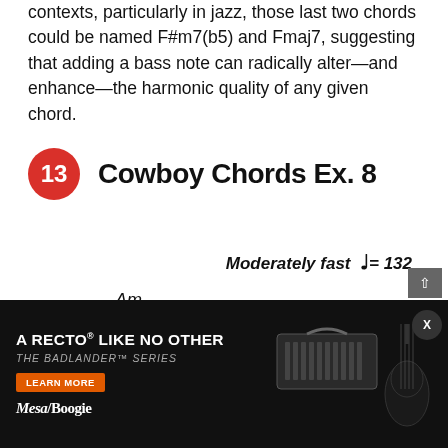contexts, particularly in jazz, those last two chords could be named F#m7(b5) and Fmaj7, suggesting that adding a bass note can radically alter—and enhance—the harmonic quality of any given chord.
13  Cowboy Chords Ex. 8
Moderately fast ♩= 132
Am
[Figure (illustration): Music notation showing 4/4 time signature with repeat signs, chord clusters (stacked noteheads) with a tie/slur over some chords, in the key of Am. Treble clef shown with chord voicings.]
[Figure (photo): Advertisement: Mesa/Boogie Badlander amplifier series. Dark background with guitar amplifier head and electric guitar. Text: A RECTO LIKE NO OTHER / THE BADLANDER SERIES / LEARN MORE / MESA/BOOGIE]